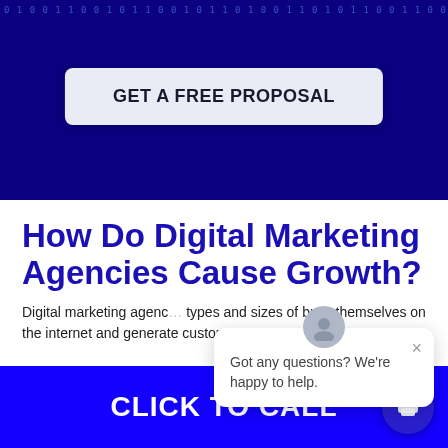[Figure (screenshot): Hero banner with dark navy blue background and binary code (0s and 1s) pattern overlay]
GET A FREE PROPOSAL
How Do Digital Marketing Agencies Cause Growth?
Digital marketing agencies work with all types and sizes of businesses to establish themselves on the internet and generate customers
[Figure (screenshot): Chat popup bubble with avatar, close button (×), and message: Got any questions? We're happy to help.]
CLICK TO CALL